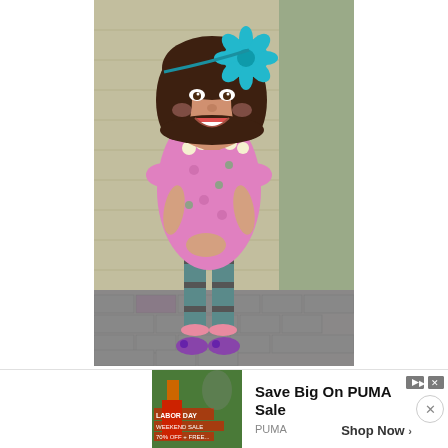[Figure (photo): A young toddler girl smiling and standing against a beige/tan siding wall on a brick patio. She is wearing a pink floral patterned top, teal and gray striped leggings with ruffled cuffs, pink socks, and purple Mary Jane shoes. She has a large turquoise flower headband in her dark hair and a white beaded necklace.]
Save Big On PUMA Sale
PUMA   Shop Now >